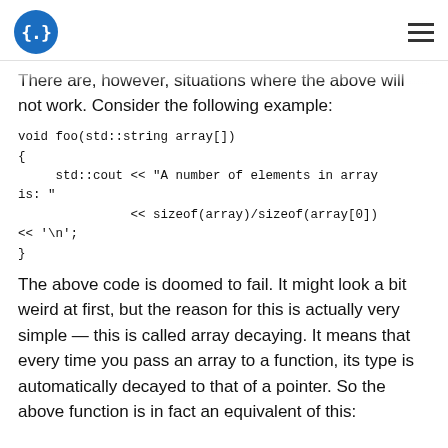{.} [logo] [hamburger menu]
There are, however, situations where the above will not work. Consider the following example:
void foo(std::string array[])
{
    std::cout << "A number of elements in array is: "
              << sizeof(array)/sizeof(array[0])
              << '\n';
}
The above code is doomed to fail. It might look a bit weird at first, but the reason for this is actually very simple — this is called array decaying. It means that every time you pass an array to a function, its type is automatically decayed to that of a pointer. So the above function is in fact an equivalent of this: